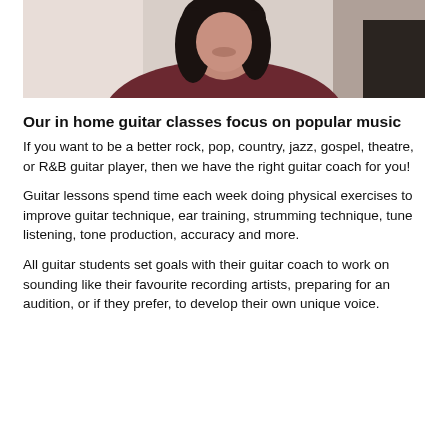[Figure (photo): Photo of a woman with dark hair wearing a dark red/maroon top, appearing to be in a home or studio setting.]
Our in home guitar classes focus on popular music
If you want to be a better rock, pop, country, jazz, gospel, theatre, or R&B guitar player, then we have the right guitar coach for you!
Guitar lessons spend time each week doing physical exercises to improve guitar technique, ear training, strumming technique, tune listening, tone production, accuracy and more.
All guitar students set goals with their guitar coach to work on sounding like their favourite recording artists, preparing for an audition, or if they prefer, to develop their own unique voice.